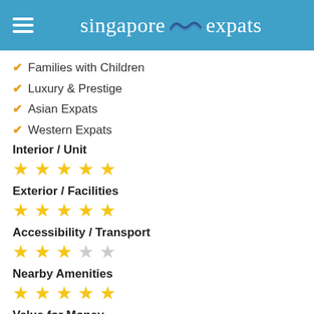singapore expats
Families with Children
Luxury & Prestige
Asian Expats
Western Expats
Interior / Unit
★ ★ ★ ★ ★ (5 gold stars)
Exterior / Facilities
★ ★ ★ ★ ★ (5 gold stars)
Accessibility / Transport
★ ★ ★ ☆ ☆ (3 gold stars, 2 empty)
Nearby Amenities
★ ★ ★ ★ ★ (5 gold stars)
Value for Money
★ ★ ★ ★ ★ (5 gold stars)
Overall
4.6 out of 5